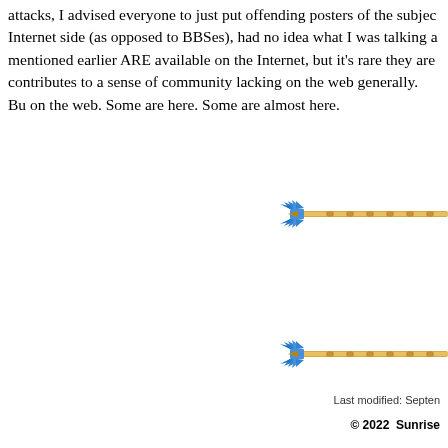attacks, I advised everyone to just put offending posters of the subject Internet side (as opposed to BBSes), had no idea what I was talking a mentioned earlier ARE available on the Internet, but it's rare they are contributes to a sense of community lacking on the web generally. Bu on the web. Some are here. Some are almost here.
[Figure (illustration): A decorative divider graphic showing a winged golden staff/wand with blue wings, pointing right, partially cropped at right edge. Appears twice on the page as horizontal dividers.]
[Figure (illustration): A second instance of the same decorative divider graphic showing a winged golden staff/wand with blue wings, pointing right, partially cropped at right edge.]
Last modified: Septen
© 2022  Sunrise